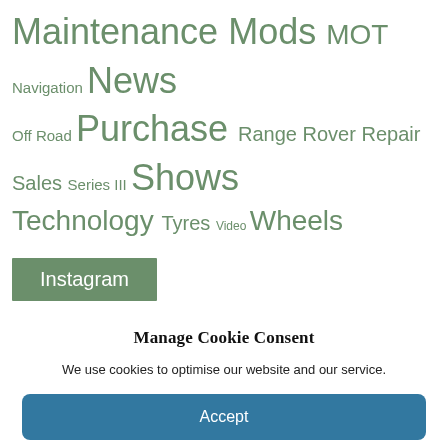Maintenance Mods MOT Navigation News Off Road Purchase Range Rover Repair Sales Series III Shows Technology Tyres Video Wheels
Instagram
Manage Cookie Consent
We use cookies to optimise our website and our service.
Accept
Deny
Preferences